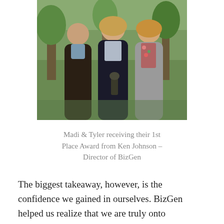[Figure (photo): Three people standing together outdoors smiling. A man on the left in a dark sweater, a woman in the center in a black jacket holding a trophy/award, and a woman on the right in a gray blazer with floral top.]
Madi & Tyler receiving their 1st Place Award from Ken Johnson – Director of BizGen
The biggest takeaway, however, is the confidence we gained in ourselves. BizGen helped us realize that we are truly onto something, and this idea has the potential to go